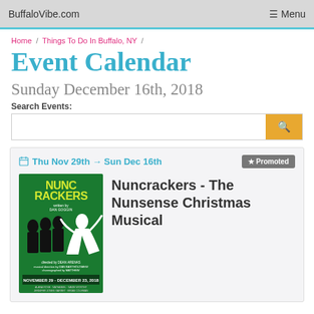BuffaloVibe.com   ≡ Menu
Home / Things To Do In Buffalo, NY /
Event Calendar
Sunday December 16th, 2018
Search Events:
[Figure (illustration): Nuncrackers - The Nunsense Christmas Musical event poster showing silhouetted nuns dancing on a green background. Text reads NUNCRACKERS written by Dan Goggin, NOVEMBER 29 - DECEMBER 23, 2018]
Thu Nov 29th → Sun Dec 16th   ★ Promoted
Nuncrackers - The Nunsense Christmas Musical